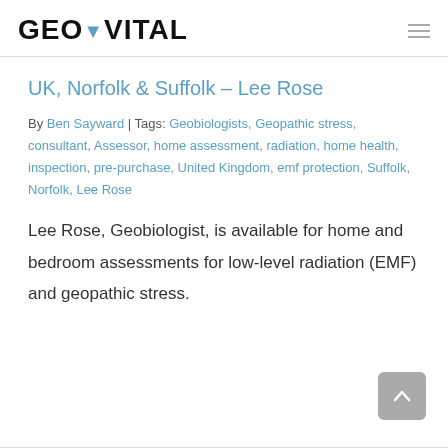GEOVITAL
UK, Norfolk & Suffolk – Lee Rose
By Ben Sayward | Tags: Geobiologists, Geopathic stress, consultant, Assessor, home assessment, radiation, home health, inspection, pre-purchase, United Kingdom, emf protection, Suffolk, Norfolk, Lee Rose
Lee Rose, Geobiologist, is available for home and bedroom assessments for low-level radiation (EMF) and geopathic stress.